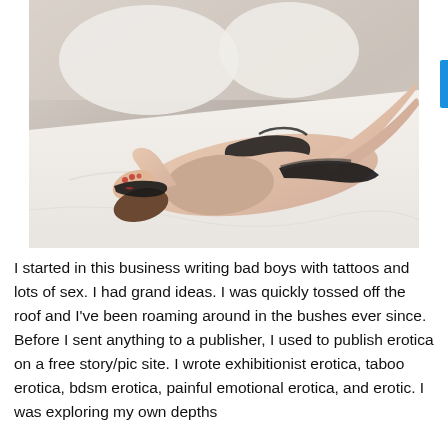[Figure (photo): A woman wearing black lingerie and a black lace blindfold, lying face-down on a white bed with arms raised near her head.]
I started in this business writing bad boys with tattoos and lots of sex. I had grand ideas. I was quickly tossed off the roof and I've been roaming around in the bushes ever since. Before I sent anything to a publisher, I used to publish erotica on a free story/pic site. I wrote exhibitionist erotica, taboo erotica, bdsm erotica, painful emotional erotica, and erotic. I was exploring my own depths